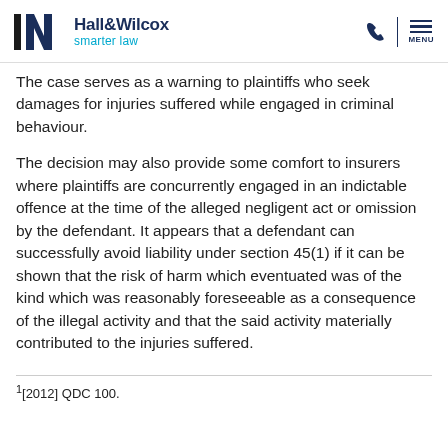Hall&Wilcox smarter law
The case serves as a warning to plaintiffs who seek damages for injuries suffered while engaged in criminal behaviour.
The decision may also provide some comfort to insurers where plaintiffs are concurrently engaged in an indictable offence at the time of the alleged negligent act or omission by the defendant. It appears that a defendant can successfully avoid liability under section 45(1) if it can be shown that the risk of harm which eventuated was of the kind which was reasonably foreseeable as a consequence of the illegal activity and that the said activity materially contributed to the injuries suffered.
1[2012] QDC 100.